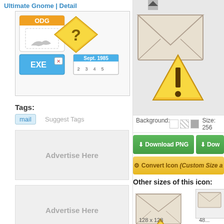Ultimate Gnome | Detail
[Figure (illustration): Icon set preview showing ODG file icon, question mark diamond icon, EXE file icon, and calendar icon]
Tags:
mail
Suggest Tags
Advertise Here
Advertise Here
[Figure (illustration): Large warning/mail icon on right side top area - envelope with caution triangle]
Background:   Size: 256
Download PNG
Dow...
Convert Icon (Custom Size a...
Other sizes of this icon:
[Figure (illustration): 128x128 mail warning icon - envelope with yellow caution triangle]
128 x 128
48...